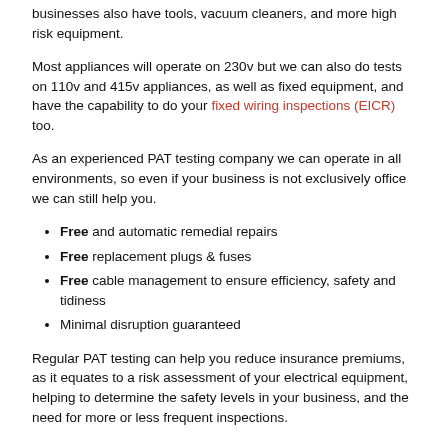businesses also have tools, vacuum cleaners, and more high risk equipment.
Most appliances will operate on 230v but we can also do tests on 110v and 415v appliances, as well as fixed equipment, and have the capability to do your fixed wiring inspections (EICR) too.
As an experienced PAT testing company we can operate in all environments, so even if your business is not exclusively office we can still help you.
Free and automatic remedial repairs
Free replacement plugs & fuses
Free cable management to ensure efficiency, safety and tidiness
Minimal disruption guaranteed
Regular PAT testing can help you reduce insurance premiums, as it equates to a risk assessment of your electrical equipment, helping to determine the safety levels in your business, and the need for more or less frequent inspections.